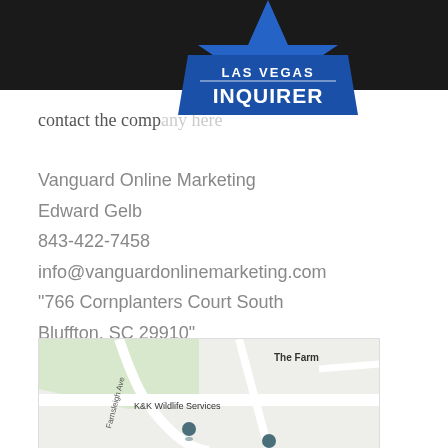[Figure (logo): Las Vegas Inquirer logo - blue star with 'LAS VEGAS INQUIRER' text on dark background header]
contact the company here
Vanguard Online Marketing
Edward Gelb
843-422-7458
info@vanguardonlinemarketing.com
"766 Cornplanters Court South
Bluffton, SC 29910"
[Figure (map): Google Maps screenshot showing location near Farnsleigh Ave, with K&K Wildlife Services label and location pin, and 'The Farm' label visible]